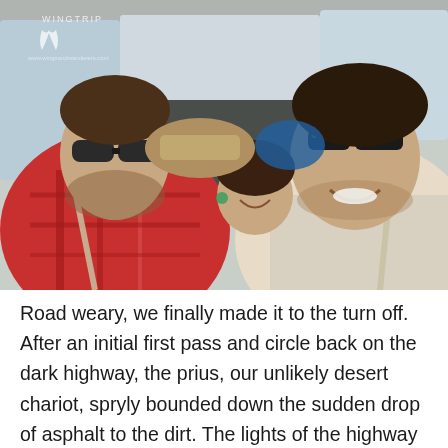[Figure (photo): A selfie-style photo taken inside a car. In the foreground on the left is a young man with sunglasses and a red plaid shirt with a seatbelt across his chest. On the right is another man wearing sunglasses and a light grey t-shirt, smiling broadly. In the back seat a woman is smiling. There are bags/hats piled in the back. A small watermark logo appears top-left.]
Road weary, we finally made it to the turn off. After an initial first pass and circle back on the dark highway, the prius, our unlikely desert chariot, spryly bounded down the sudden drop of asphalt to the dirt. The lights of the highway disappeared